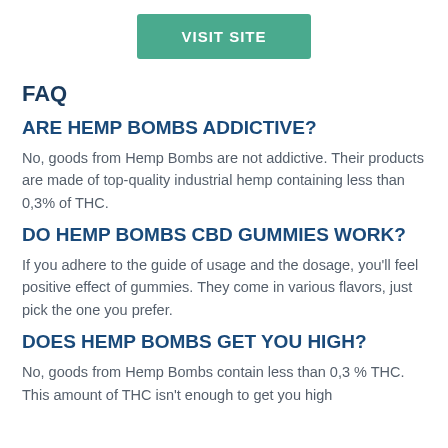[Figure (other): Green 'VISIT SITE' button]
FAQ
ARE HEMP BOMBS ADDICTIVE?
No, goods from Hemp Bombs are not addictive. Their products are made of top-quality industrial hemp containing less than 0,3% of THC.
DO HEMP BOMBS CBD GUMMIES WORK?
If you adhere to the guide of usage and the dosage, you'll feel positive effect of gummies. They come in various flavors, just pick the one you prefer.
DOES HEMP BOMBS GET YOU HIGH?
No, goods from Hemp Bombs contain less than 0,3 % THC. This amount of THC isn't enough to get you high